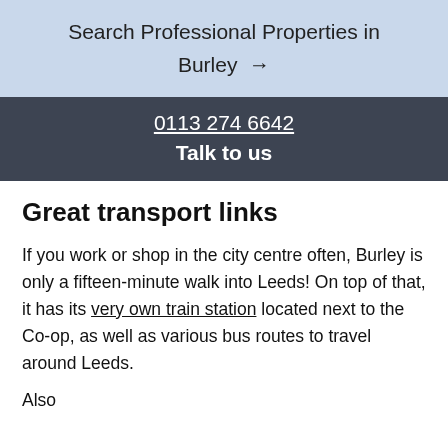Search Professional Properties in Burley →
0113 274 6642
Talk to us
Great transport links
If you work or shop in the city centre often, Burley is only a fifteen-minute walk into Leeds! On top of that, it has its very own train station located next to the Co-op, as well as various bus routes to travel around Leeds.
Also available...